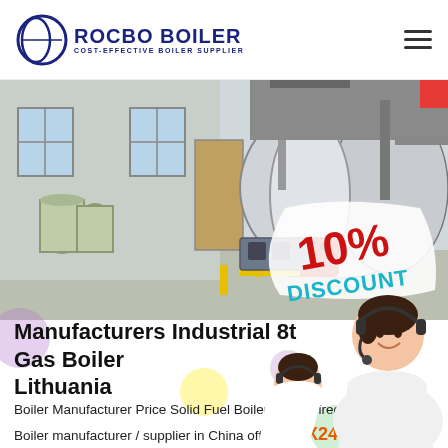ROCBO BOILER | COST-EFFECTIVE BOILER SUPPLIER
[Figure (photo): Industrial boiler room with large horizontal gas-fired steam boiler, water treatment tanks, and pipework. A 10% DISCOUNT overlay is shown on the lower right of the image.]
Manufacturers Industrial 8t Gas Boiler Lithuania
Boiler Manufacturer Price Solid Fuel Boilers Coal Fired Steam Boiler manufacturer / supplier in China offering 7X24 Online